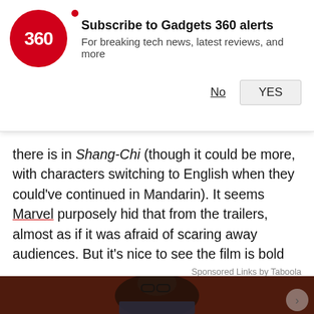[Figure (other): Gadgets 360 notification subscription banner with red circular logo showing '360', subscribe prompt text, No and YES buttons]
there is in Shang-Chi (though it could be more, with characters switching to English when they could've continued in Mandarin). It seems Marvel purposely hid that from the trailers, almost as if it was afraid of scaring away audiences. But it's nice to see the film is bold enough to hold its own.
Sponsored Links by Taboola
[Figure (photo): Photo of a Black man wearing large glasses and a dark dotted shirt, seated in front of a brick wall background]